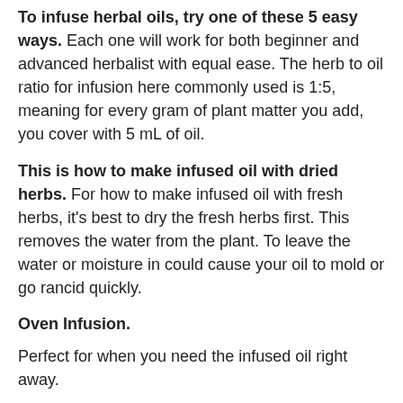To infuse herbal oils, try one of these 5 easy ways. Each one will work for both beginner and advanced herbalist with equal ease. The herb to oil ratio for infusion here commonly used is 1:5, meaning for every gram of plant matter you add, you cover with 5 mL of oil.
This is how to make infused oil with dried herbs. For how to make infused oil with fresh herbs, it's best to dry the fresh herbs first. This removes the water from the plant. To leave the water or moisture in could cause your oil to mold or go rancid quickly.
Oven Infusion.
Perfect for when you need the infused oil right away.
This requires the herb or plant matter, your choice of oils and a low oven, set at 200.
Place the herbs in an oven proof bowl and cover with the choice of oil.